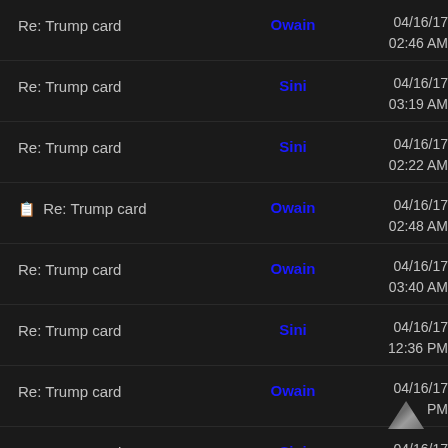Re: Trump card | Owain | 04/16/17 02:46 AM
Re: Trump card | Sini | 04/16/17 03:19 AM
Re: Trump card | Sini | 04/16/17 02:22 AM
[icon] Re: Trump card | Owain | 04/16/17 02:48 AM
Re: Trump card | Owain | 04/16/17 03:40 AM
Re: Trump card | Sini | 04/16/17 12:36 PM
Re: Trump card | Owain | 04/16/17 [obscured] PM
Re: Trump card | Sini | 04/16/17